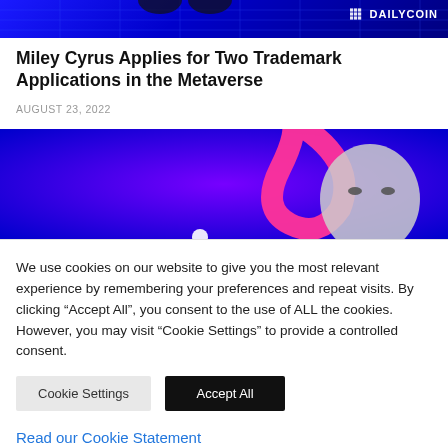[Figure (screenshot): Top banner image with dark blue grid/tech background and DAILYCOIN logo in upper right]
Miley Cyrus Applies for Two Trademark Applications in the Metaverse
AUGUST 23, 2022
[Figure (photo): Stylized photo of a person (Miley Cyrus) with a bright pink curved shape on a vibrant blue/purple background]
We use cookies on our website to give you the most relevant experience by remembering your preferences and repeat visits. By clicking “Accept All”, you consent to the use of ALL the cookies. However, you may visit "Cookie Settings" to provide a controlled consent.
Cookie Settings
Accept All
Read our Cookie Statement